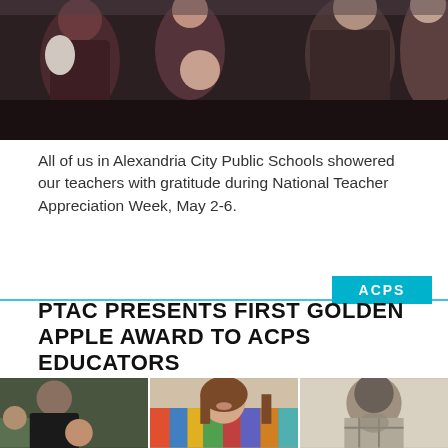[Figure (photo): Group of people gathered outdoors, including adults and children, appearing to be at a school or community event. Dark tones, crowded scene.]
All of us in Alexandria City Public Schools showered our teachers with gratitude during National Teacher Appreciation Week, May 2-6.
[Figure (logo): Cyan/teal rectangle with white text 'ACPS' on the right side, above a thin cyan horizontal line.]
PTAC PRESENTS FIRST GOLDEN APPLE AWARD TO ACPS EDUCATORS
[Figure (photo): Three side-by-side photos of ACPS educators: left shows a man in black shirt working with children outdoors; center shows a smiling woman with long brown hair in front of colorful bookshelves; right is a black-and-white photo of a man looking down.]